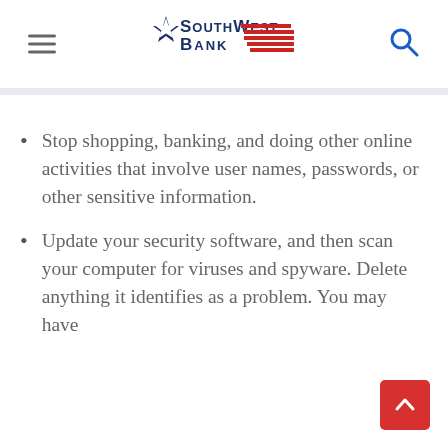[Figure (logo): Southwest Bank logo with star and red stripes]
Stop shopping, banking, and doing other online activities that involve user names, passwords, or other sensitive information.
Update your security software, and then scan your computer for viruses and spyware. Delete anything it identifies as a problem. You may have to...